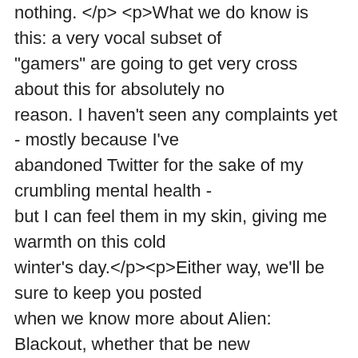nothing. </p> <p>What we do know is this: a very vocal subset of "gamers" are going to get very cross about this for absolutely no reason. I haven't seen any complaints yet - mostly because I've abandoned Twitter for the sake of my crumbling mental health - but I can feel them in my skin, giving me warmth on this cold winter's day.</p><p>Either way, we'll be sure to keep you posted when we know more about Alien: Blackout, whether that be new screens, videos, or even if we manage to get our hands on it. This will probably be one of the bigger mobile games of 2019 - let's hope it's good!</p>
2　It shows an evil disposition to take advantage of a friend in distress.Word Search MOD APK"No, no. A pessimist is one who never expects to find anything to suit him. Geordie hain't got THAT far yet."
3　Download the House Designer Mod Apk from the below-given link and use your creative ideas to develop the most beautiful and valuable house in the town. Work hard to clean the shit and paint